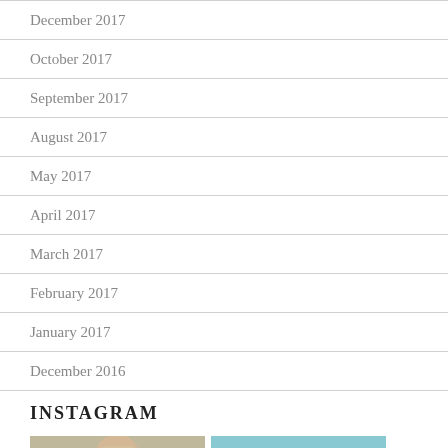December 2017
October 2017
September 2017
August 2017
May 2017
April 2017
March 2017
February 2017
January 2017
December 2016
INSTAGRAM
[Figure (photo): Two Instagram photo thumbnails side by side, left showing a woman's face, right showing a light blue image]